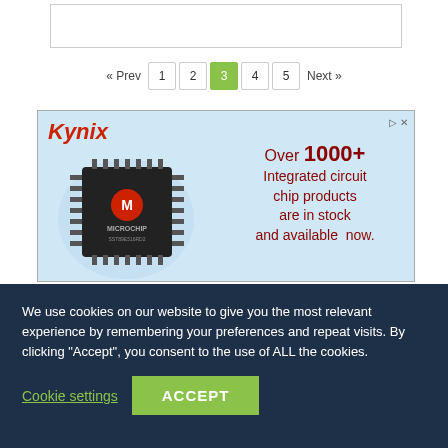[Figure (screenshot): Pagination bar showing « Prev, pages 1, 2, 3 (active/highlighted in green), 4, 5, Next »]
[Figure (illustration): Kynix advertisement banner with light blue background, Kynix logo in red italic, Microchip IC chip image on left, text on right: Over 1000+ Integrated circuit chip products are in stock and available now.]
We use cookies on our website to give you the most relevant experience by remembering your preferences and repeat visits. By clicking "Accept", you consent to the use of ALL the cookies.
Cookie settings   ACCEPT